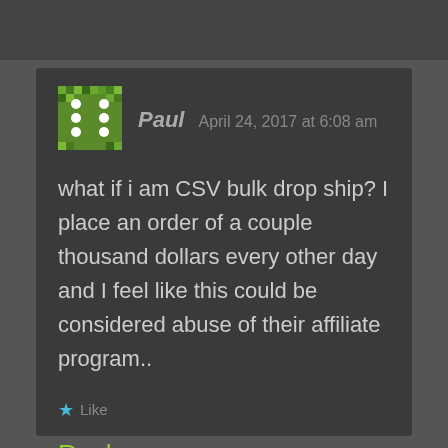[Figure (illustration): User avatar for Paul — green pixelated graphic resembling a dice face with dots on green background]
Paul   April 24, 2017 at 6:08 am
what if i am CSV bulk drop ship? I place an order of a couple thousand dollars every other day and I feel like this could be considered abuse of their affiliate program..
★ Like
Reply